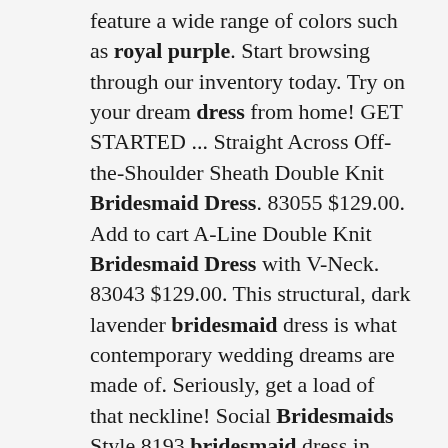feature a wide range of colors such as royal purple. Start browsing through our inventory today. Try on your dream dress from home! GET STARTED ... Straight Across Off-the-Shoulder Sheath Double Knit Bridesmaid Dress. 83055 $129.00. Add to cart A-Line Double Knit Bridesmaid Dress with V-Neck. 83043 $129.00. This structural, dark lavender bridesmaid dress is what contemporary wedding dreams are made of. Seriously, get a load of that neckline! Social Bridesmaids Style 8193 bridesmaid dress in Lavender, from $230, Brideside.com. Purple bridesmaid dresses can be especially eye-catching when they come in the halter style, like this stunner. Jessica Carlyle JESSICA HOWARD Womens Purple Zippered Illusion-trim 3/4 Sleeve Boat Neck Above The Knee Evening Blouson Dress Plus 16W. Sold by BOBBI + BRICKA. $87.99 $74.99. A-line V